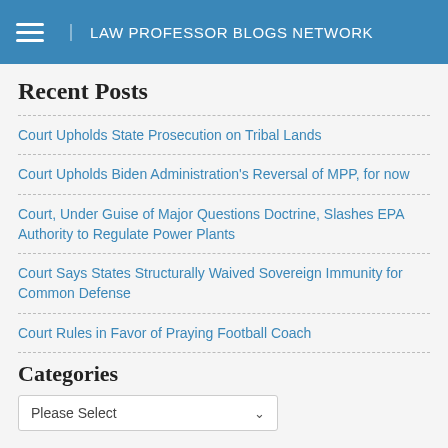LAW PROFESSOR BLOGS NETWORK
Recent Posts
Court Upholds State Prosecution on Tribal Lands
Court Upholds Biden Administration's Reversal of MPP, for now
Court, Under Guise of Major Questions Doctrine, Slashes EPA Authority to Regulate Power Plants
Court Says States Structurally Waived Sovereign Immunity for Common Defense
Court Rules in Favor of Praying Football Coach
Categories
Please Select